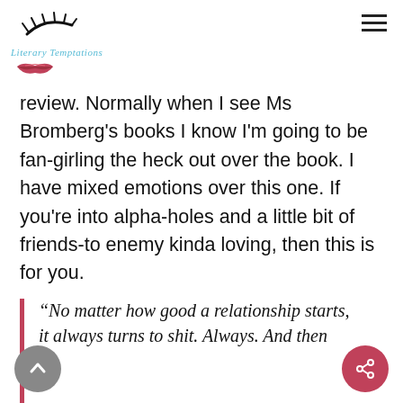[Figure (logo): Literary Temptations blog logo with eyelash graphic and red lips]
review. Normally when I see Ms Bromberg's books I know I'm going to be fan-girling the heck out over the book. I have mixed emotions over this one. If you're into alpha-holes and a little bit of friends-to enemy kinda loving, then this is for you.
“No matter how good a relationship starts, it always turns to shit. Always. And then